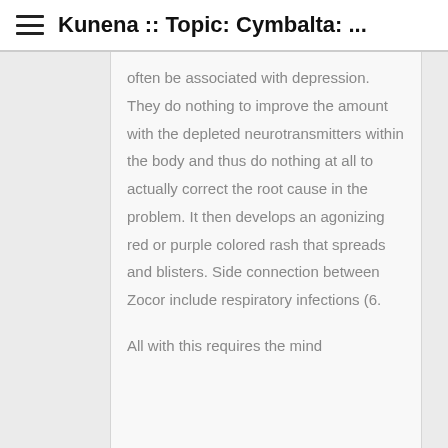Kunena :: Topic: Cymbalta: ...
often be associated with depression. They do nothing to improve the amount with the depleted neurotransmitters within the body and thus do nothing at all to actually correct the root cause in the problem. It then develops an agonizing red or purple colored rash that spreads and blisters. Side connection between Zocor include respiratory infections (6.
All with this requires the mind